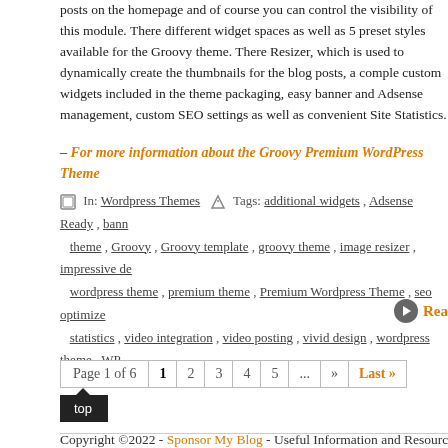posts on the homepage and of course you can control the visibility of this module. There are different widget spaces as well as 5 preset styles available for the Groovy theme. There Resizer, which is used to dynamically create the thumbnails for the blog posts, a comple custom widgets included in the theme packaging, easy banner and Adsense management, custom SEO settings as well as convenient Site Statistics.
– For more information about the Groovy Premium WordPress Theme
In: Wordpress Themes   Tags: additional widgets , Adsense Ready , bann theme , Groovy , Groovy template , groovy theme , image resizer , impressive de wordpress theme , premium theme , Premium Wordpress Theme , seo optimize statistics , video integration , video posting , vivid design , wordpress theme , WP
Rea
Page 1 of 6  1  2  3  4  5  ...  »  Last »
top
Copyright ©2022 - Sponsor My Blog - Useful Information and Resources for Blo